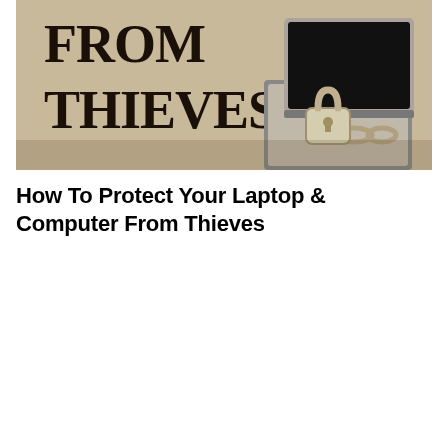[Figure (photo): Photo showing a laptop computer with a padlock and chain around it, set against a tan/beige background with bold text reading 'FROM THIEVES' on the left side.]
How To Protect Your Laptop & Computer From Thieves